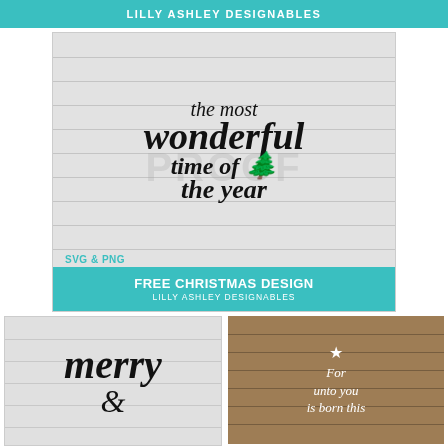LILLY ASHLEY DESIGNABLES
[Figure (illustration): Main card with horizontal wood plank background showing handwritten-style Christmas quote 'the most wonderful time of the year' with a Christmas tree silhouette icon, SVG & PNG label, and teal bottom bar reading 'FREE CHRISTMAS DESIGN / LILLY ASHLEY DESIGNABLES'. Proof watermark overlaid.]
[Figure (illustration): Small thumbnail on bottom-left showing 'merry &' in large handwritten script on light planked background]
[Figure (illustration): Small thumbnail on bottom-right showing wooden background with star and white italic text 'For unto you is born this']